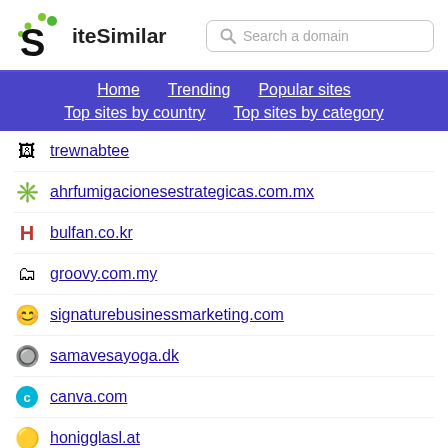[Figure (logo): SiteSimilar logo with S icon and green dots]
Search a domain
Home
Trending
Popular sites
Top sites by country
Top sites by category
trewnabtee
ahrfumigacionesestrategicas.com.mx
bulfan.co.kr
groovy.com.my
signaturebusinessmarketing.com
samavesayoga.dk
canva.com
honigglasl.at
biglike.org
ocbankstatus.ca